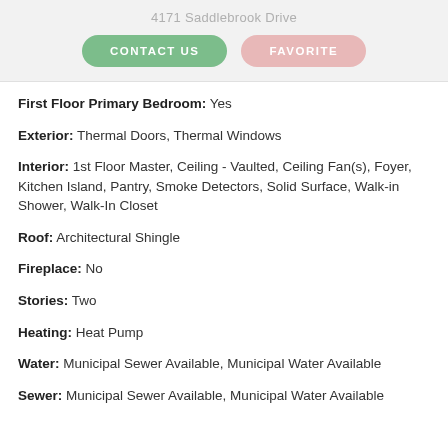4171 Saddlebrook Drive
CONTACT US | FAVORITE
First Floor Primary Bedroom: Yes
Exterior: Thermal Doors, Thermal Windows
Interior: 1st Floor Master, Ceiling - Vaulted, Ceiling Fan(s), Foyer, Kitchen Island, Pantry, Smoke Detectors, Solid Surface, Walk-in Shower, Walk-In Closet
Roof: Architectural Shingle
Fireplace: No
Stories: Two
Heating: Heat Pump
Water: Municipal Sewer Available, Municipal Water Available
Sewer: Municipal Sewer Available, Municipal Water Available